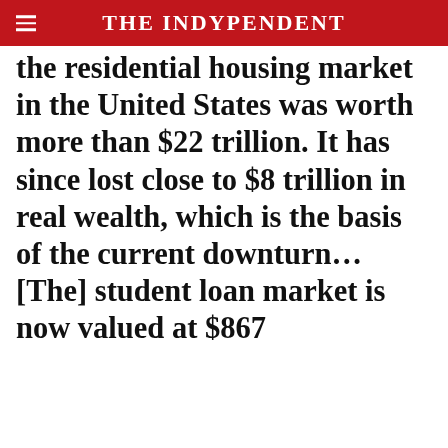THE INDYPENDENT
the residential housing market in the United States was worth more than $22 trillion. It has since lost close to $8 trillion in real wealth, which is the basis of the current downturn... [The] student loan market is now valued at $867